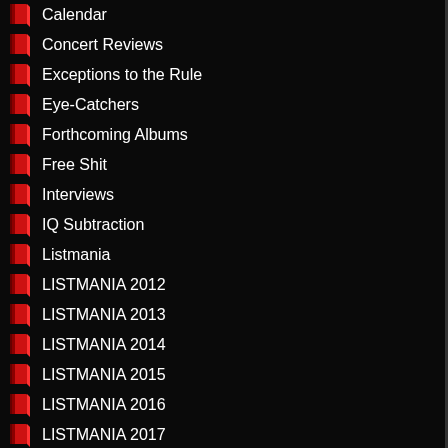Calendar
Concert Reviews
Exceptions to the Rule
Eye-Catchers
Forthcoming Albums
Free Shit
Interviews
IQ Subtraction
Listmania
LISTMANIA 2012
LISTMANIA 2013
LISTMANIA 2014
LISTMANIA 2015
LISTMANIA 2016
LISTMANIA 2017
LISTMANIA 2018
LISTMANIA 2019
LISTMANIA 2020
LISTMANIA 2021
Metal News
MISCELLANY